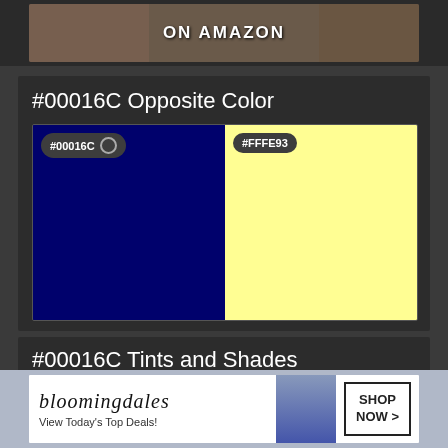[Figure (photo): Top banner showing 'ON AMAZON' text with dark background and Amazon product imagery]
#00016C Opposite Color
[Figure (illustration): Two color swatches side by side: #00016C (dark navy blue) on the left and #FFFE93 (light yellow) on the right, each with a badge label]
#00016C Tints and Shades
~ Navy Blue #00016c Shades
[Figure (illustration): Row of color shade badges on a blue background: #00016C, #000161, #000156, #00014C with a CLOSE button]
[Figure (screenshot): Bloomingdale's advertisement banner: 'View Today's Top Deals!' with SHOP NOW button]